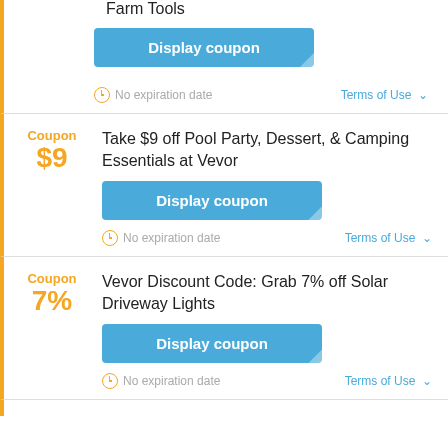Farm Tools
Display coupon
No expiration date
Terms of Use
Coupon $9 — Take $9 off Pool Party, Dessert, & Camping Essentials at Vevor
Display coupon
No expiration date
Terms of Use
Coupon 7% — Vevor Discount Code: Grab 7% off Solar Driveway Lights
Display coupon
No expiration date
Terms of Use